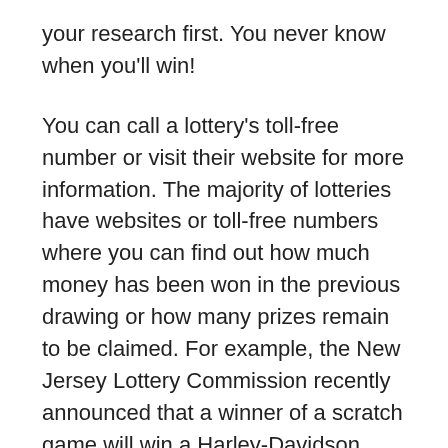your research first. You never know when you'll win!
You can call a lottery's toll-free number or visit their website for more information. The majority of lotteries have websites or toll-free numbers where you can find out how much money has been won in the previous drawing or how many prizes remain to be claimed. For example, the New Jersey Lottery Commission recently announced that a winner of a scratch game will win a Harley-Davidson motorcycle. Typically, prizes from scratch games range from hundreds of dollars to thousands of dollars.
As a result, national lotteries are great for public funds. In the United States, the average American spent $220 on a lottery ticket in 2017. As payouts